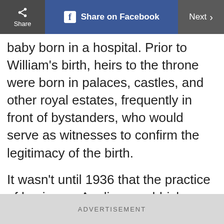Share | Share on Facebook | Next
baby born in a hospital. Prior to William's birth, heirs to the throne were born in palaces, castles, and other royal estates, frequently in front of bystanders, who would serve as witnesses to confirm the legitimacy of the birth.
It wasn't until 1936 that the practice of having an Anglican archbishop and other officials present at the birth was phased out. Privacy proved to be more paramount than some 17th-century aristocrat rolling over in his grave about
ADVERTISEMENT